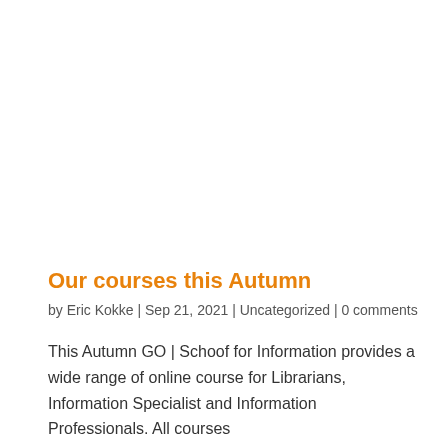Our courses this Autumn
by Eric Kokke | Sep 21, 2021 | Uncategorized | 0 comments
This Autumn GO | Schoof for Information provides a wide range of online course for Librarians, Information Specialist and Information Professionals. All courses